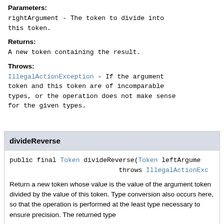Parameters:
rightArgument - The token to divide into this token.
Returns:
A new token containing the result.
Throws:
IllegalActionException - If the argument token and this token are of incomparable types, or the operation does not make sense for the given types.
divideReverse
public final Token divideReverse(Token leftArgume
                    throws IllegalActionExc
Return a new token whose value is the value of the argument token divided by the value of this token. Type conversion also occurs here, so that the operation is performed at the least type necessary to ensure precision. The returned type